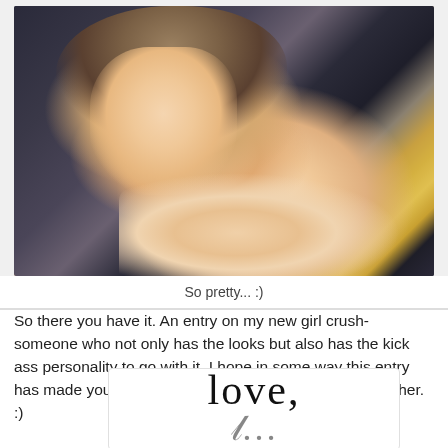[Figure (photo): Side profile of a young woman with hair up in an elegant bun, wearing diamond drop earrings and a delicate necklace, smiling slightly, against a dark background with gold lettering]
So pretty... :)
So there you have it. An entry on my new girl crush- someone who not only has the looks but also has the kick ass personality to go with it. I hope in some way this entry has made you all admire her as well and see why I love her. :)
[Figure (photo): Handwritten cursive signature reading 'love,' with the beginning of a name below]